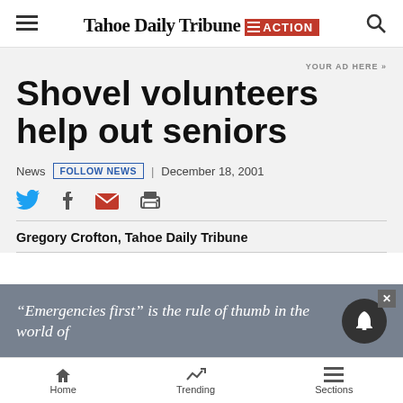Tahoe Daily Tribune action
YOUR AD HERE »
Shovel volunteers help out seniors
News | FOLLOW NEWS | December 18, 2001
Gregory Crofton, Tahoe Daily Tribune
“Emergencies first” is the rule of thumb in the world of
Home  Trending  Sections